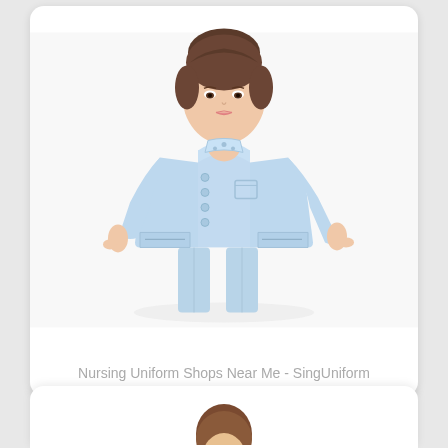[Figure (photo): A woman wearing a light blue nursing uniform (long-sleeve jacket with stand-up collar, buttons, and matching trousers), posed against a white background.]
Nursing Uniform Shops Near Me - SingUniform
[Figure (photo): Partial view of a second card at the bottom of the page showing the top of a person's head with brown hair.]